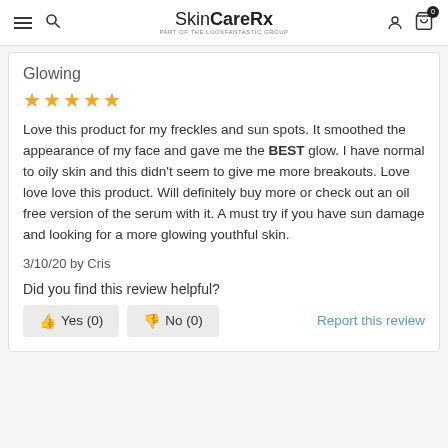SkinCareRx part of the LOOKFANTASTIC group
Glowing
Love this product for my freckles and sun spots. It smoothed the appearance of my face and gave me the BEST glow. I have normal to oily skin and this didn't seem to give me more breakouts. Love love love this product. Will definitely buy more or check out an oil free version of the serum with it. A must try if you have sun damage and looking for a more glowing youthful skin.
3/10/20 by Cris
Did you find this review helpful?
Yes (0)  No (0)  Report this review